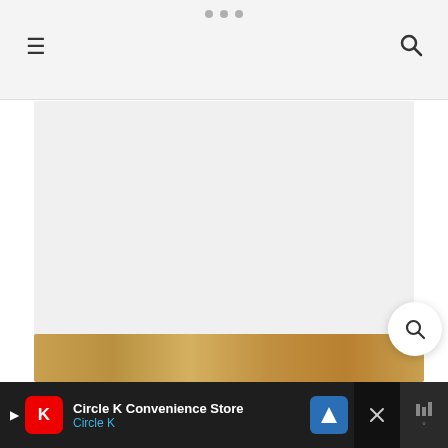Navigation header with hamburger menu and search icon
[Figure (screenshot): Mobile website screenshot showing a navigation bar with dots indicator, hamburger menu icon on left, search magnifier icon on right, gray background placeholder ad area.]
You can make a family dinner into a favorite family dinner with this BBQ macaroni salad recipe. It has a lot of flavor mixed with a deliciously creamy base and a little added crunch. It is the best macaroni salad recipe in my opinion.
[Figure (photo): Partial photo of macaroni salad dish at the bottom of the page.]
Circle K Convenience Store Circle K [Advertisement]